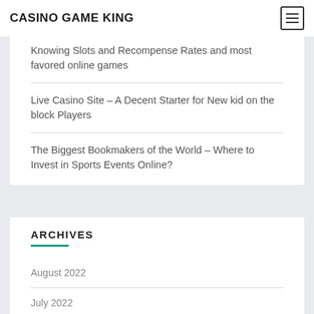CASINO GAME KING
Knowing Slots and Recompense Rates and most favored online games
Live Casino Site – A Decent Starter for New kid on the block Players
The Biggest Bookmakers of the World – Where to Invest in Sports Events Online?
ARCHIVES
August 2022
July 2022